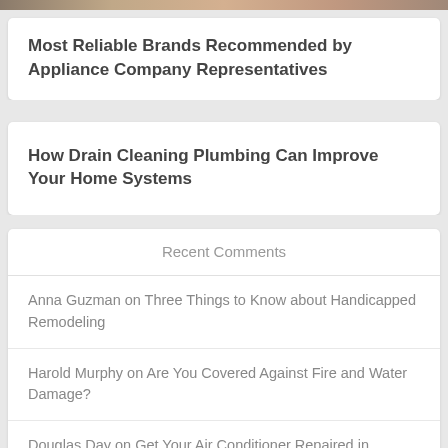[Figure (photo): Partial top strip of a photo showing people]
Most Reliable Brands Recommended by Appliance Company Representatives
How Drain Cleaning Plumbing Can Improve Your Home Systems
Recent Comments
Anna Guzman on Three Things to Know about Handicapped Remodeling
Harold Murphy on Are You Covered Against Fire and Water Damage?
Douglas Day on Get Your Air Conditioner Repaired in Virginia Beach